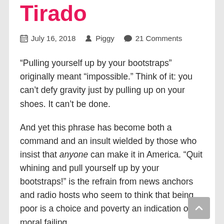Tirado
July 16, 2018   Piggy   21 Comments
“Pulling yourself up by your bootstraps” originally meant “impossible.” Think of it: you can’t defy gravity just by pulling up on your shoes. It can’t be done.
And yet this phrase has become both a command and an insult wielded by those who insist that anyone can make it in America. “Quit whining and pull yourself up by your bootstraps!” is the refrain from news anchors and radio hosts who seem to think that being poor is a choice and poverty an indication of moral failing.